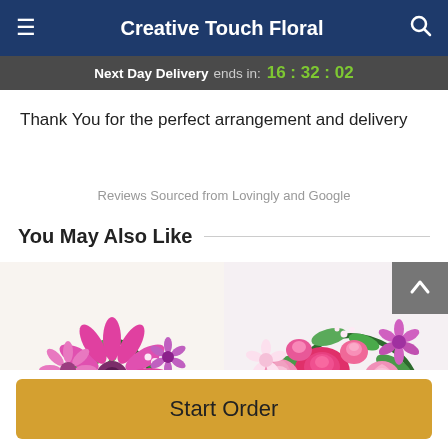Creative Touch Floral
Next Day Delivery ends in: 16:32:02
Thank You for the perfect arrangement and delivery
Reviews Sourced from Lovingly and Google
You May Also Like
[Figure (photo): Pink gerbera daisy and mixed floral bouquet]
[Figure (photo): Pink roses, carnations and alstroemeria arrangement]
Start Order